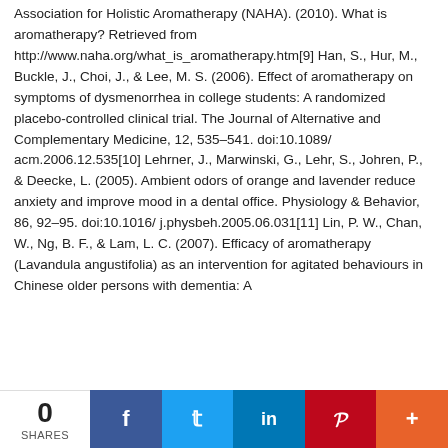Association for Holistic Aromatherapy (NAHA). (2010). What is aromatherapy? Retrieved from http://www.naha.org/what_is_aromatherapy.htm[9] Han, S., Hur, M., Buckle, J., Choi, J., & Lee, M. S. (2006). Effect of aromatherapy on symptoms of dysmenorrhea in college students: A randomized placebo-controlled clinical trial. The Journal of Alternative and Complementary Medicine, 12, 535–541. doi:10.1089/ acm.2006.12.535[10] Lehrner, J., Marwinski, G., Lehr, S., Johren, P., & Deecke, L. (2005). Ambient odors of orange and lavender reduce anxiety and improve mood in a dental office. Physiology & Behavior, 86, 92–95. doi:10.1016/ j.physbeh.2005.06.031[11] Lin, P. W., Chan, W., Ng, B. F., & Lam, L. C. (2007). Efficacy of aromatherapy (Lavandula angustifolia) as an intervention for agitated behaviours in Chinese older persons with dementia: A
0 SHARES | Facebook | Twitter | LinkedIn | Pinterest | More